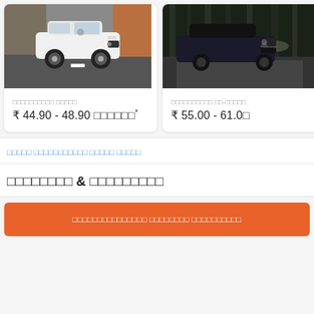[Figure (photo): White Mercedes-Benz GLA SUV driving on a road with rocky hillside in background]
□□□□□□□□□□ □□□□□
₹ 44.90 - 48.90 □□□□□□*
[Figure (photo): Dark Mercedes-Benz CLA driving through a forest road]
□□□□□□□□□□ □□-□□□□□
₹ 55.00 - 61.0□
□□□□□ □□□□□□□□□□□ □□□□□ □□□□□
□□□□□□□□ & □□□□□□□□□
□□□□□□□□□□□□□□□ □□□□□□□□ □□□□□□□□□□